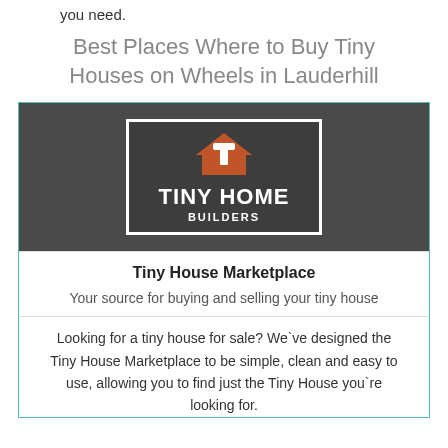you need.
Best Places Where to Buy Tiny Houses on Wheels in Lauderhill
[Figure (logo): Tiny Home Builders logo: dark grey background with white-bordered box containing an orange house icon with hammer, and white text reading TINY HOME BUILDERS]
Tiny House Marketplace
Your source for buying and selling your tiny house
Looking for a tiny house for sale? We`ve designed the Tiny House Marketplace to be simple, clean and easy to use, allowing you to find just the Tiny House you`re looking for.